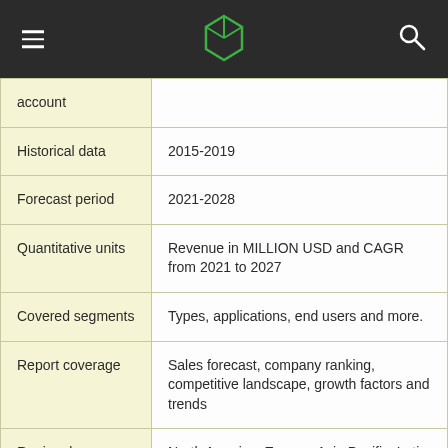| account |  |
| Historical data | 2015-2019 |
| Forecast period | 2021-2028 |
| Quantitative units | Revenue in MILLION USD and CAGR from 2021 to 2027 |
| Covered segments | Types, applications, end users and more. |
| Report coverage | Sales forecast, company ranking, competitive landscape, growth factors and trends |
| Regional scope | North America, Europe, Asia Pacific, Latin America, Middle East and Africa |
| Scope of | Free report customization (equivalent to up to 8 working days for analysts) with purchase. |